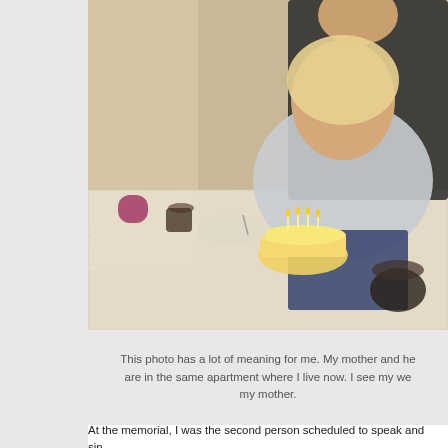[Figure (photo): A woman with blonde hair wearing a light grey top sits by a dining table covered with a patterned tablecloth, holding a small birthday cake with lit candles. Another person in black stands behind her. The table has dishes, glasses, and cups on it.]
This photo has a lot of meaning for me. My mother and he are in the same apartment where I live now. I see my we my mother.
At the memorial, I was the second person scheduled to speak and sin room with people who all felt what I was feeling. Susan was such a p